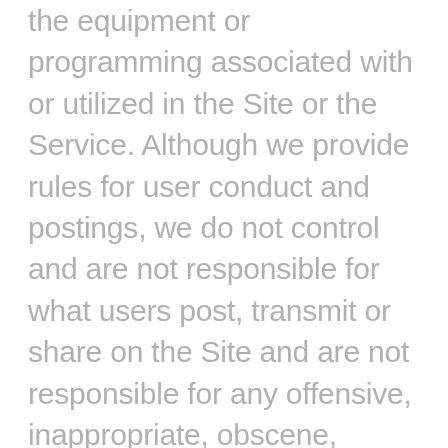the equipment or programming associated with or utilized in the Site or the Service. Although we provide rules for user conduct and postings, we do not control and are not responsible for what users post, transmit or share on the Site and are not responsible for any offensive, inappropriate, obscene, unlawful or otherwise objectionable content you may encounter on the Site or in connection with any User Content or Third Party Applications, Software or Content. The company is not